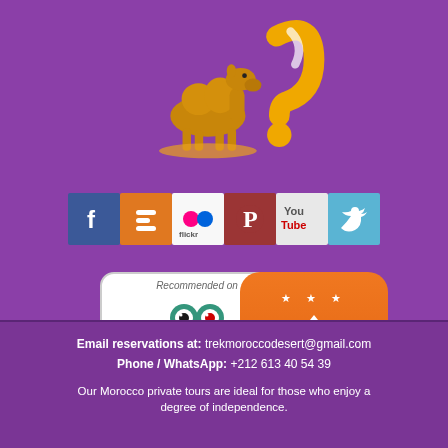[Figure (logo): Camel with question mark logo on purple background]
[Figure (infographic): Row of social media icons: Facebook, Blogger, Flickr, Pinterest, YouTube, Twitter]
[Figure (logo): TripAdvisor recommended badge with owl logo and Click Here to See Reviews button]
[Figure (logo): Kayak orange badge with airplane and stars]
Email reservations at: trekmoroccodesert@gmail.com
Phone / WhatsApp: +212 613 40 54 39
Our Morocco private tours are ideal for those who enjoy a degree of independence.